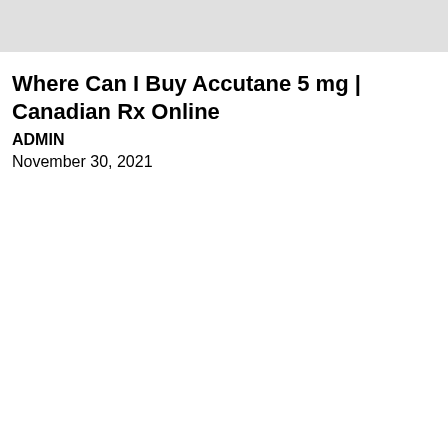[Figure (other): Gray banner/header image placeholder at the top of the page]
Where Can I Buy Accutane 5 mg | Canadian Rx Online
ADMIN
November 30, 2021